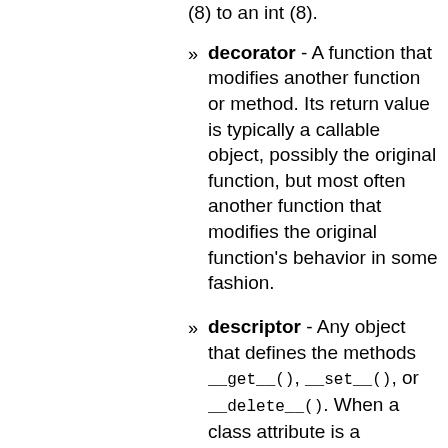(8) to an int (8).
decorator - A function that modifies another function or method. Its return value is typically a callable object, possibly the original function, but most often another function that modifies the original function's behavior in some fashion.
descriptor - Any object that defines the methods __get__(), __set__(), or __delete__(). When a class attribute is a descriptor, its special binding behavior is